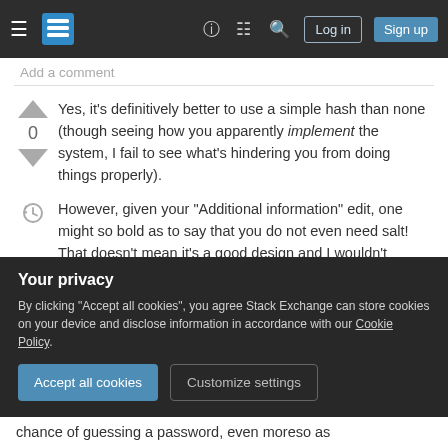Stack Exchange navigation bar with hamburger menu, logo, help, chat, search icons, Log in and Sign up buttons
Add a comment
Yes, it's definitively better to use a simple hash than none (though seeing how you apparently implement the system, I fail to see what's hindering you from doing things properly).
However, given your "Additional information" edit, one might so bold as to say that you do not even need salt! That doesn't mean it's a good design and I wouldn't recommend that, but if you are serious
Your privacy
By clicking "Accept all cookies", you agree Stack Exchange can store cookies on your device and disclose information in accordance with our Cookie Policy.
Accept all cookies   Customize settings
chance of guessing a password, even moreso as